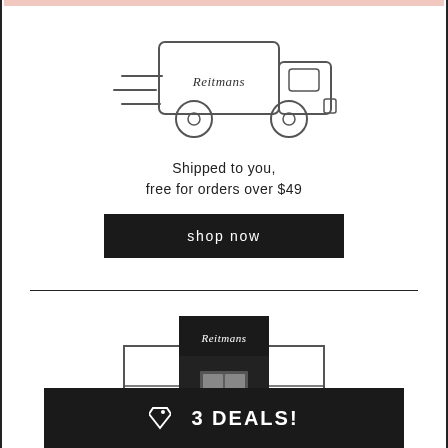[Figure (illustration): Line drawing of a delivery truck with 'Reitmans' script logo on the side, speed lines on the left]
Shipped to you,
free for orders over $49
shop now
[Figure (illustration): Line drawing of a Reitmans store front with dark facade, Reitmans logo on sign, double doors]
3 DEALS!